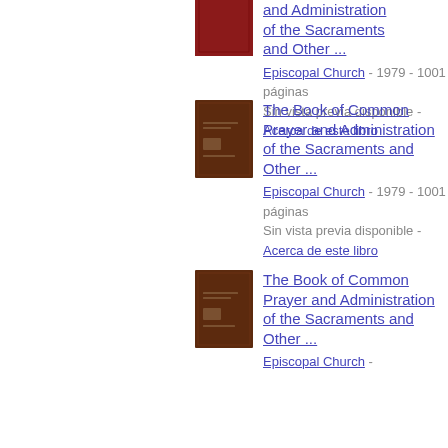[Figure (illustration): Red book cover thumbnail (partial, top clipped)]
and Administration of the Sacraments and Other ...
Episcopal Church - 1979 - 1001 páginas
Sin vista previa disponible - Acerca de este libro
[Figure (illustration): Brown book cover thumbnail for The Book of Common Prayer and Administration of the Sacraments and Other ...]
The Book of Common Prayer and Administration of the Sacraments and Other ...
Episcopal Church - 1979 - 1001 páginas
Sin vista previa disponible - Acerca de este libro
[Figure (illustration): Brown book cover thumbnail for The Book of Common Prayer and Administration of the Sacraments and Other ...]
The Book of Common Prayer and Administration of the Sacraments and Other ...
Episcopal Church -